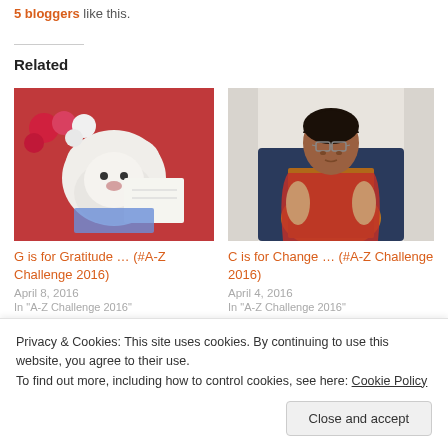5 bloggers like this.
Related
[Figure (photo): White fluffy stuffed dog toy surrounded by red roses and greeting cards on a red surface]
G is for Gratitude … (#A-Z Challenge 2016)
April 8, 2016
In "A-Z Challenge 2016"
[Figure (photo): Indian woman wearing glasses and a red saree sitting in a chair]
C is for Change … (#A-Z Challenge 2016)
April 4, 2016
In "A-Z Challenge 2016"
[Figure (photo): Partial view of a blog post image showing a person with hair net]
Privacy & Cookies: This site uses cookies. By continuing to use this website, you agree to their use.
To find out more, including how to control cookies, see here: Cookie Policy
Close and accept